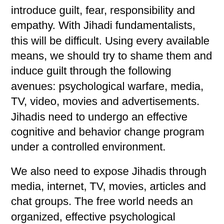introduce guilt, fear, responsibility and empathy. With Jihadi fundamentalists, this will be difficult. Using every available means, we should try to shame them and induce guilt through the following avenues: psychological warfare, media, TV, video, movies and advertisements. Jihadis need to undergo an effective cognitive and behavior change program under a controlled environment.
We also need to expose Jihadis through media, internet, TV, movies, articles and chat groups. The free world needs an organized, effective psychological warfare to extricate them from the slavish ideology. We also need to consider seriously the following measures:
1. Because of ...